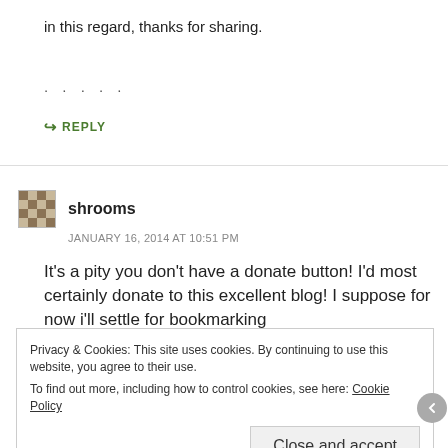in this regard, thanks for sharing.
. . . . .
↳ REPLY
shrooms
JANUARY 16, 2014 AT 10:51 PM
It's a pity you don't have a donate button! I'd most certainly donate to this excellent blog! I suppose for now i'll settle for bookmarking
Privacy & Cookies: This site uses cookies. By continuing to use this website, you agree to their use.
To find out more, including how to control cookies, see here: Cookie Policy
Close and accept